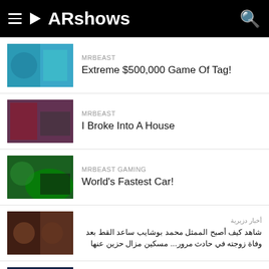ARshows
Extreme $500,000 Game Of Tag!
I Broke Into A House
World's Fastest Car!
شاهد كيف أصبح الممثل محمد بوشايب ساعد القط بعد وفاة زوجته في حادث مرور... مسكين مزال حزين عنها
#سهيلة_بن_لشهب في آخر ظهور لها